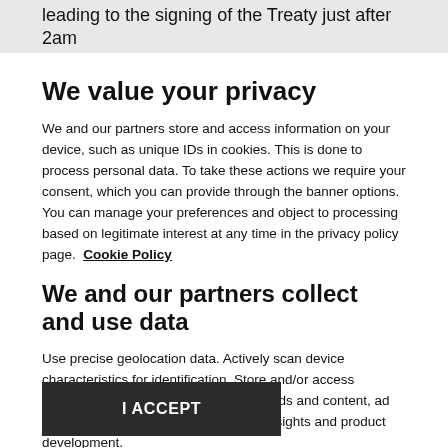leading to the signing of the Treaty just after 2am on December 6th 2021.
We value your privacy
We and our partners store and access information on your device, such as unique IDs in cookies. This is done to process personal data. To take these actions we require your consent, which you can provide through the banner options. You can manage your preferences and object to processing based on legitimate interest at any time in the privacy policy page.  Cookie Policy
We and our partners collect and use data
Use precise geolocation data. Actively scan device characteristics for identification. Store and/or access information on a device. Personalised ads and content, ad and content measurement, audience insights and product development.
List of Partners (vendors)
I ACCEPT